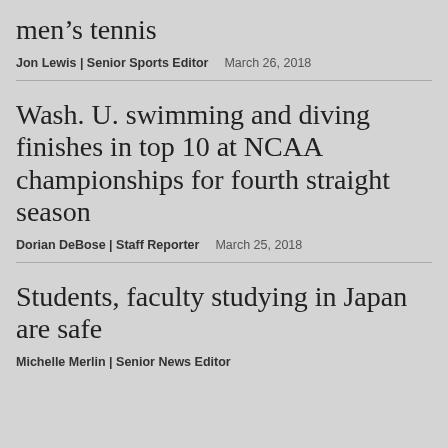men's tennis
Jon Lewis | Senior Sports Editor   March 26, 2018
Wash. U. swimming and diving finishes in top 10 at NCAA championships for fourth straight season
Dorian DeBose | Staff Reporter   March 25, 2018
Students, faculty studying in Japan are safe
Michelle Merlin | Senior News Editor